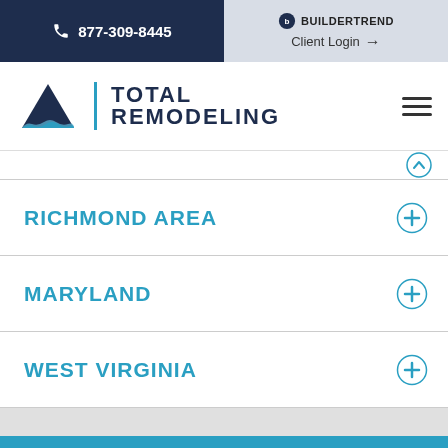📞 877-309-8445
[Figure (logo): Buildertrend logo with text BUILDERTREND]
Client Login →
[Figure (logo): Total Remodeling logo with mountain/triangle icon and bold text TOTAL REMODELING]
RICHMOND AREA
MARYLAND
WEST VIRGINIA
SCHEDULE CONSULTATION